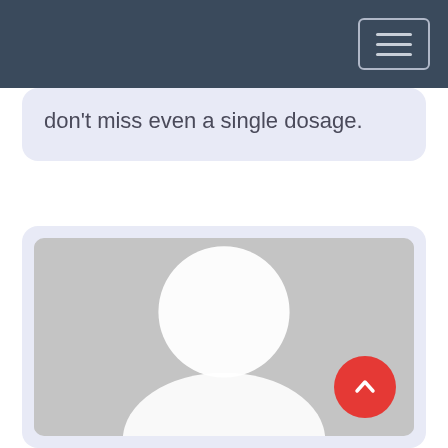don't miss even a single dosage.
[Figure (photo): User profile photo placeholder showing a generic silhouette avatar (white circle head and shoulders shape on grey background) with a red back-to-top button overlay in the bottom right corner.]